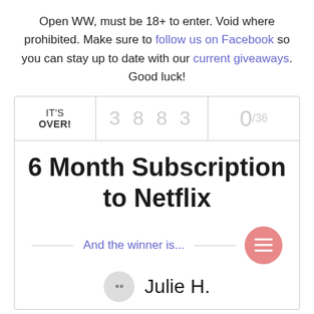Open WW, must be 18+ to enter. Void where prohibited. Make sure to follow us on Facebook so you can stay up to date with our current giveaways. Good luck!
[Figure (screenshot): Giveaway widget showing 'IT'S OVER!' status with entry count 3883, score 0/36, prize '6 Month Subscription to Netflix', winner announcement 'And the winner is... Julie H.']